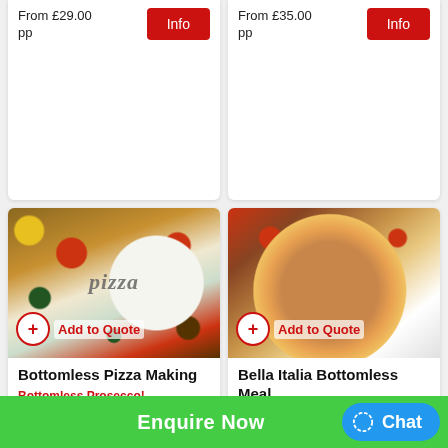From £29.00 pp
Info
From £35.00 pp
Info
[Figure (photo): Overhead view of pizza ingredients including flour with 'pizza' written in it, tomatoes, olives, peppers, basil and a rolling pin]
Add to Quote
[Figure (photo): Photo of a cooked pizza with toppings including chicken, mushrooms, tomato sauce, on a wooden board with fresh tomatoes and herbs around]
Add to Quote
Bottomless Pizza Making
Bottomless Prosecco!
From £43.00 pp
Info
Bella Italia Bottomless Meal
From £38.00 pp
Info
Enquire Now
Chat